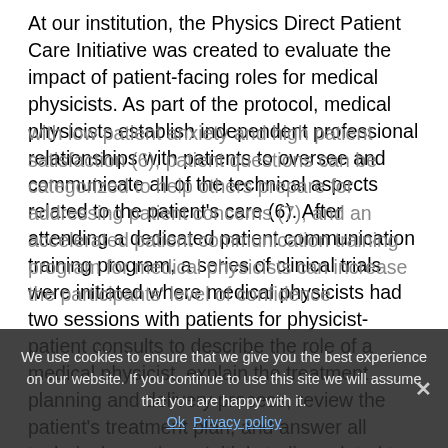At our institution, the Physics Direct Patient Care Initiative was created to evaluate the impact of patient-facing roles for medical physicists. As part of the protocol, medical physicists establish independent professional relationships with patients to oversee and communicate all of the technical aspects related to the patient's care (6). After attending a dedicated patient communication training program, a series of clinical trials were initiated where medical physicists had two sessions with patients for physicist-patient consults to describe the role of a medical physicist, explain the treatment planning and delivery process, review the patient's treatment plan, and answer all technical questions. Initial studies related to the initiative have shown that physicist-patient consults are associated with low patient anxiety and high patient satisfaction (6), patient questions can be categorized to help others prepare for addressing patient concerns (7), and an accelerated patient communication training program for medical physicists can increase the participants' level of confidence
We use cookies to ensure that we give you the best experience on our website. If you continue to use this site we will assume that you are happy with it. Ok Privacy policy